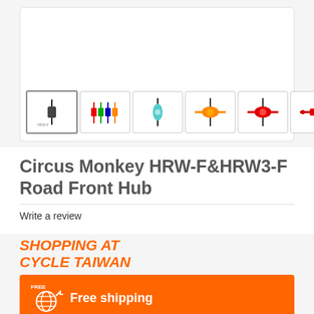[Figure (photo): Product image gallery showing Circus Monkey HRW-F&HRW3-F Road Front Hub with 7 thumbnail images of the hub in different colors (black, multi-color, teal, orange, red) and a main white display area.]
Circus Monkey HRW-F&HRW3-F Road Front Hub
Write a review
[Figure (infographic): SHOPPING AT CYCLE TAIWAN banner with orange Free shipping bar containing a globe icon]
SHOPPING AT CYCLE TAIWAN
Free shipping